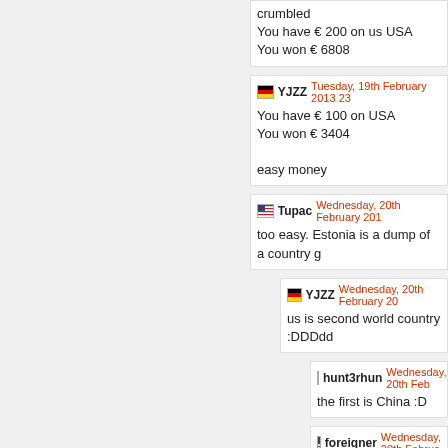crumbled
You have € 200 on us USA
You won € 6808
YJZZ Tuesday, 19th February 2013 23
You have € 100 on USA
You won € 3404

easy money
Tupac Wednesday, 20th February 201
too easy. Estonia is a dump of a country g
YJZZ Wednesday, 20th February 20
us is second world country :DDDdd
hunt3rhun Wednesday, 20th Feb
the first is China :D
foreigner Wednesday, 20th Februa
http://www.nationsonline.org/onewor
hunt3rhun Wednesday, 20th Fe
China will win people. China have
reserve dollar note. Unless US car